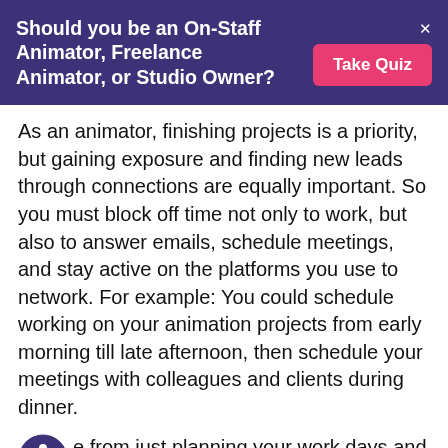Should you be an On-Staff Animator, Freelance Animator, or Studio Owner?
As an animator, finishing projects is a priority, but gaining exposure and finding new leads through connections are equally important. So you must block off time not only to work, but also to answer emails, schedule meetings, and stay active on the platforms you use to network. For example: You could schedule working on your animation projects from early morning till late afternoon, then schedule your meetings with colleagues and clients during dinner.
e from just planning your work days and work hours, plan your activities for your